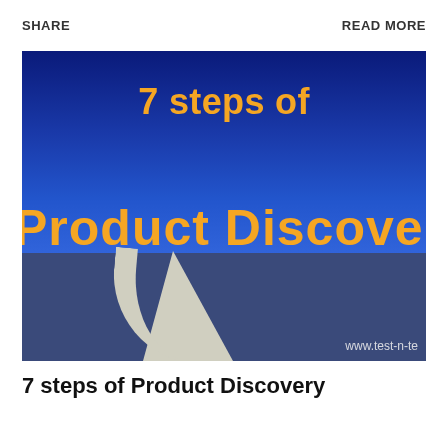SHARE    READ MORE
[Figure (illustration): Banner image with dark blue background and a winding road through a field. Large bold yellow text reads '7 steps of' on top and 'Product Discovery' below. Watermark 'www.test-n-te' visible at bottom right.]
7 steps of Product Discovery